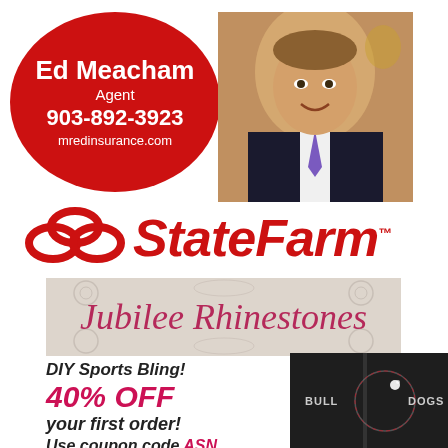[Figure (logo): Red oval badge with Ed Meacham Agent contact info]
[Figure (photo): Professional headshot of Ed Meacham in suit]
[Figure (logo): State Farm logo with three red oval rings and italic red text]
[Figure (logo): Jubilee Rhinestones banner with decorative background]
[Figure (photo): Black jacket with BULLDOGS rhinestone design]
DIY Sports Bling!
40% OFF
your first order!
Use coupon code ASN